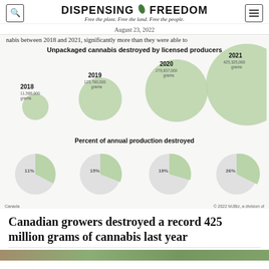DISPENSING FREEDOM — Free the plant. Free the land. Free the people.
August 23, 2022
nabis between 2018 and 2021, significantly more than they were able to
[Figure (bubble-chart): Unpackaged cannabis destroyed by licensed producers]
[Figure (pie-chart): Percent of annual production destroyed]
Canada                                                      © 2022 MJBiz, a division of
Canadian growers destroyed a record 425 million grams of cannabis last year